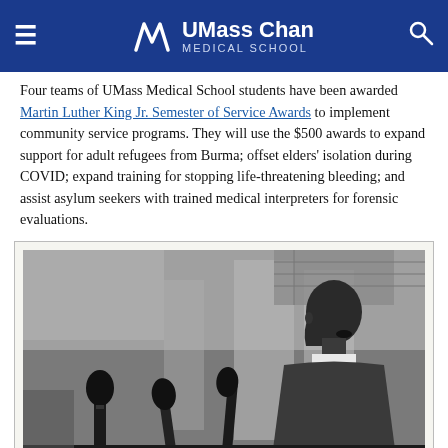UMass Chan Medical School
Four teams of UMass Medical School students have been awarded Martin Luther King Jr. Semester of Service Awards to implement community service programs. They will use the $500 awards to expand support for adult refugees from Burma; offset elders' isolation during COVID; expand training for stopping life-threatening bleeding; and assist asylum seekers with trained medical interpreters for forensic evaluations.
[Figure (photo): Black and white photograph of Martin Luther King Jr. speaking at a podium with multiple microphones, with an American flag visible in the background.]
UMMS students will accept their awards at an upcoming virtual Martin Luther King Jr. Day observance.